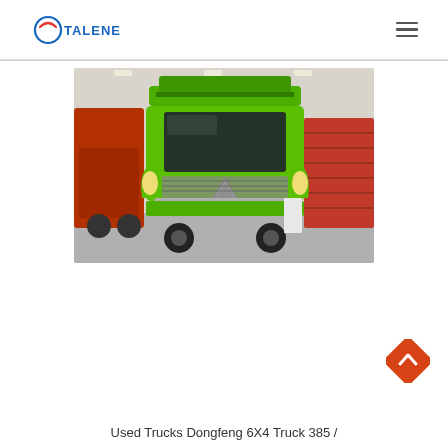TALENET
[Figure (photo): Front view of a bright green Dongfeng 6X4 heavy truck parked in an indoor showroom/warehouse. Other trucks visible on left and right sides. The truck features a prominent triangular hood emblem.]
[Figure (other): Orange diamond-shaped back-to-top button with white upward chevron arrow]
Used Trucks Dongfeng 6X4 Truck 385 /